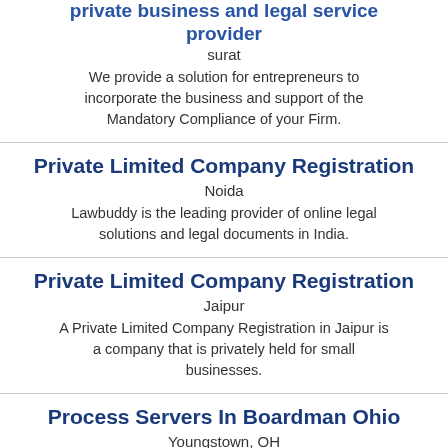private business and legal service provider
surat
We provide a solution for entrepreneurs to incorporate the business and support of the Mandatory Compliance of your Firm.
Private Limited Company Registration
Noida
Lawbuddy is the leading provider of online legal solutions and legal documents in India.
Private Limited Company Registration
Jaipur
A Private Limited Company Registration in Jaipur is a company that is privately held for small businesses.
Process Servers In Boardman Ohio
Youngstown, OH